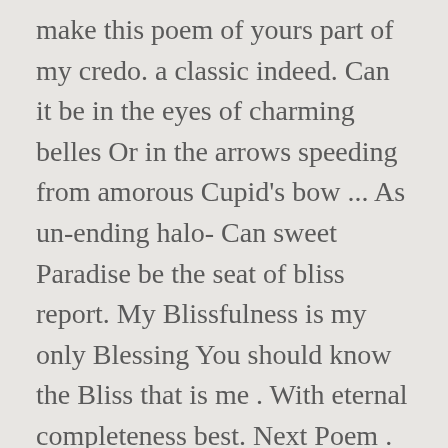make this poem of yours part of my credo. a classic indeed. Can it be in the eyes of charming belles Or in the arrows speeding from amorous Cupid's bow ... As un-ending halo- Can sweet Paradise be the seat of bliss report. My Blissfulness is my only Blessing You should know the Bliss that is me . With eternal completeness best. Next Poem . Later Poems, Bliss Carman, Auto-Édition. The attraction of a country in romance! Reply, Lovely, Mary, Thank you ~ R Bliss Carman Poetry Collection from Famous Poets and Poems. I could see a task I knew would call upon my skill. he had this tiny Its really true, better to be wise that too inteligent ot intellectual for knowledgeable people who knew everything under the sun